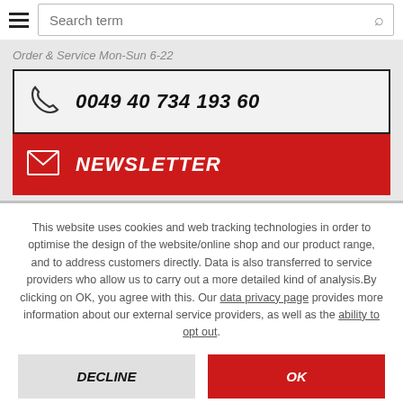[Figure (screenshot): Search bar with hamburger menu icon on the left and a magnifying glass search icon on the right, with placeholder text 'Search term']
Order & Service Mon-Sun 6-22
0049 40 734 193 60
NEWSLETTER
This website uses cookies and web tracking technologies in order to optimise the design of the website/online shop and our product range, and to address customers directly. Data is also transferred to service providers who allow us to carry out a more detailed kind of analysis. By clicking on OK, you agree with this. Our data privacy page provides more information about our external service providers, as well as the ability to opt out.
DECLINE
OK